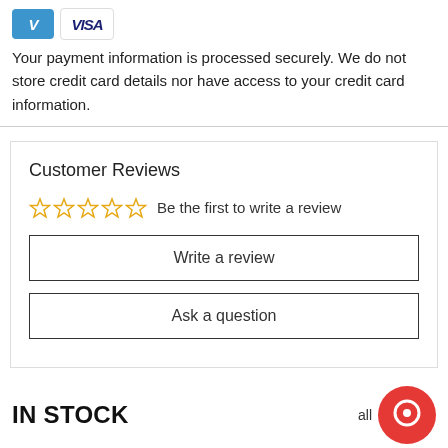[Figure (logo): Venmo and Visa payment icons]
Your payment information is processed securely. We do not store credit card details nor have access to your credit card information.
Customer Reviews
☆☆☆☆☆  Be the first to write a review
Write a review
Ask a question
IN STOCK
Save $194.00